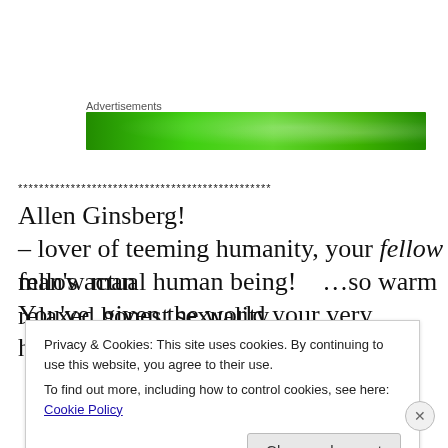[Figure (other): Green advertisement banner with sparkle/star texture overlay]
************************************************
Allen Ginsberg!
– lover of teeming humanity, your fellow fellow man
man's actual human being!    …so warm
You've  given the world your very humanity
relaxed honest sexuality
Privacy & Cookies: This site uses cookies. By continuing to use this website, you agree to their use.
To find out more, including how to control cookies, see here: Cookie Policy
Close and accept